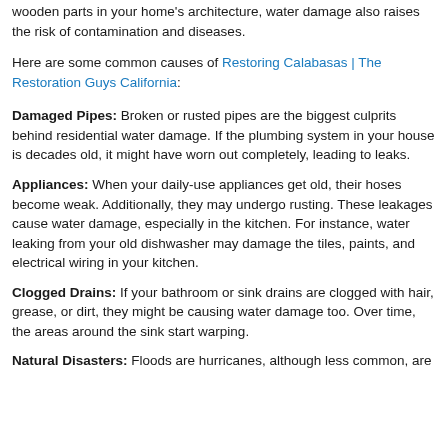wooden parts in your home's architecture, water damage also raises the risk of contamination and diseases.
Here are some common causes of Restoring Calabasas | The Restoration Guys California:
Damaged Pipes: Broken or rusted pipes are the biggest culprits behind residential water damage. If the plumbing system in your house is decades old, it might have worn out completely, leading to leaks.
Appliances: When your daily-use appliances get old, their hoses become weak. Additionally, they may undergo rusting. These leakages cause water damage, especially in the kitchen. For instance, water leaking from your old dishwasher may damage the tiles, paints, and electrical wiring in your kitchen.
Clogged Drains: If your bathroom or sink drains are clogged with hair, grease, or dirt, they might be causing water damage too. Over time, the areas around the sink start warping.
Natural Disasters: Floods are hurricanes, although less common, are